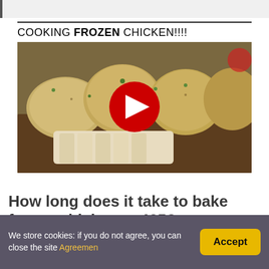[Figure (screenshot): Top gray bar with left border accent]
COOKING FROZEN CHICKEN!!!!
[Figure (photo): YouTube video thumbnail showing cooked frozen chicken breasts on a wooden board with a red YouTube play button overlay]
How long does it take to bake frozen chicken at 425?
The chicken should cook at 425F for 30 to 40...
We store cookies: if you do not agree, you can close the site Agreemen
Accept